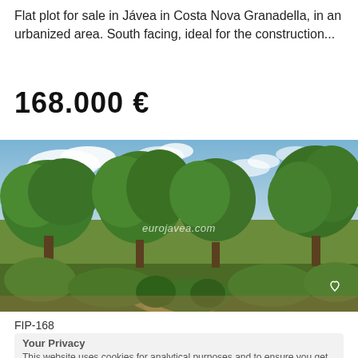Flat plot for sale in Jávea in Costa Nova Granadella, in an urbanized area. South facing, ideal for the construction...
168.000 €
[Figure (photo): Outdoor landscape photo of a flat plot in Jávea, Costa Nova Granadella. Shows lush green trees and Mediterranean shrubs under a partly cloudy blue sky. Watermark reads 'eurojavea.com'.]
FIP-168
Your Privacy
This website uses cookies for analytical purposes and to ensure you get the best